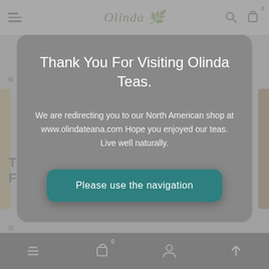[Figure (screenshot): Website screenshot background showing Olinda Teas website with top navigation bar, hamburger menu, logo, search and cart icons, and partially visible page content with a tan/gold sidebar element]
Thank You For Visiting Olinda Teas.
We are redirecting you to our North American shop at www.olindateana.com Hope you enjoyed our teas. Live well naturally.
Please use the navigation
[Figure (screenshot): Bottom mobile navigation bar (dark/black) with hamburger menu, shopping bag with 0 badge, person icon, and up arrow icon]